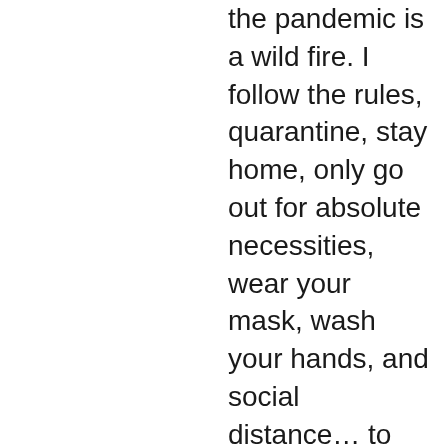the pandemic is a wild fire. I follow the rules, quarantine, stay home, only go out for absolute necessities, wear your mask, wash your hands, and social distance… to end up homeless?? My unemployment claim is not fraud, yet I suspect… For what??? I have a family!! How are we to survive?? My car is gone now, couldn't afford registration, or insurance because I cannot go back to work per the state and federal government! So now what Governor News on?? Now what??